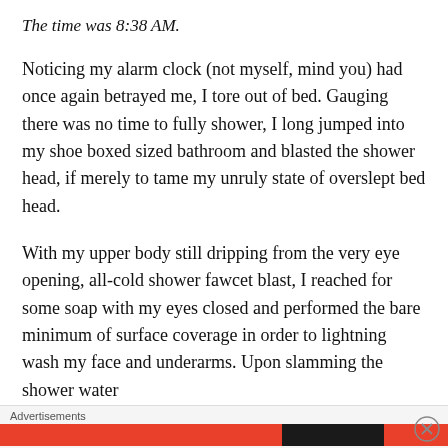The time was 8:38 AM.
Noticing my alarm clock (not myself, mind you) had once again betrayed me, I tore out of bed. Gauging there was no time to fully shower, I long jumped into my shoe boxed sized bathroom and blasted the shower head, if merely to tame my unruly state of overslept bed head.
With my upper body still dripping from the very eye opening, all-cold shower fawcet blast, I reached for some soap with my eyes closed and performed the bare minimum of surface coverage in order to lightning wash my face and underarms. Upon slamming the shower water
Advertisements